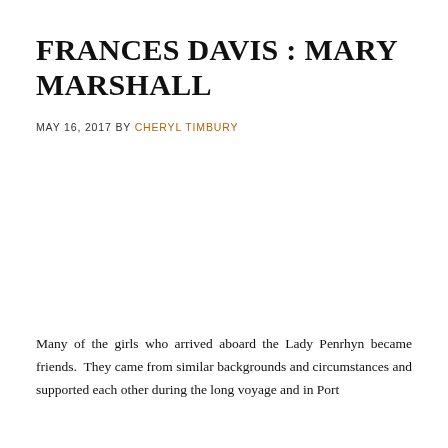FRANCES DAVIS : MARY MARSHALL
MAY 16, 2017 BY CHERYL TIMBURY
Many of the girls who arrived aboard the Lady Penrhyn became friends.  They came from similar backgrounds and circumstances and supported each other during the long voyage and in Port